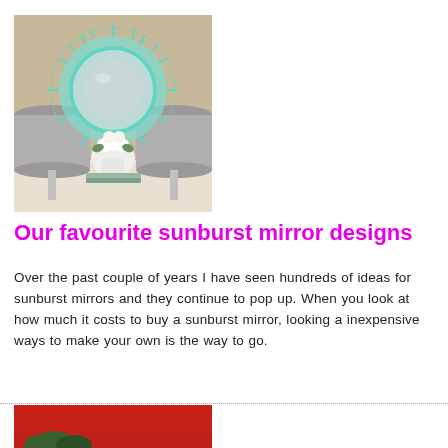[Figure (photo): Interior photo showing a decorative sunburst mirror in teal/mint color mounted on a wall behind two table lamps with gray shades and a white flower arrangement on a console table.]
Our favourite sunburst mirror designs
Over the past couple of years I have seen hundreds of ideas for sunburst mirrors and they continue to pop up. When you look at how much it costs to buy a sunburst mirror, looking a inexpensive ways to make your own is the way to go.
[Figure (photo): Partial photo showing a red background with some greenery visible at the bottom.]